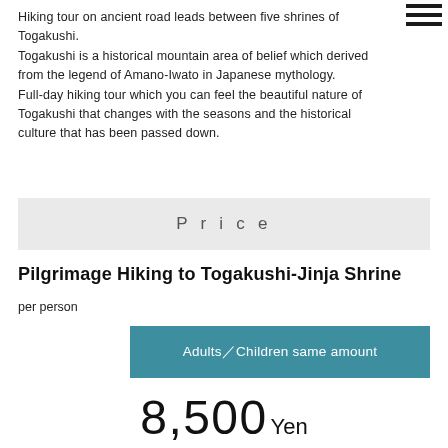Hiking tour on ancient road leads between five shrines of Togakushi.
Togakushi is a historical mountain area of belief which derived from the legend of Amano-Iwato in Japanese mythology.
Full-day hiking tour which you can feel the beautiful nature of Togakushi that changes with the seasons and the historical culture that has been passed down.
Price
Pilgrimage Hiking to Togakushi-Jinja Shrine
per person
Adults／Children same amount
8,500Yen